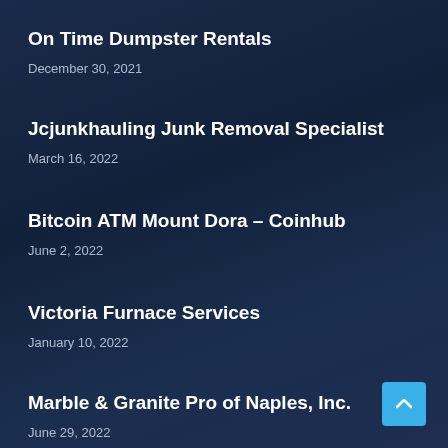On Time Dumpster Rentals
December 30, 2021
Jcjunkhauling Junk Removal Specialist
March 16, 2022
Bitcoin ATM Mount Dora – Coinhub
June 2, 2022
Victoria Furnace Services
January 10, 2022
Marble & Granite Pro of Naples, Inc.
June 29, 2022